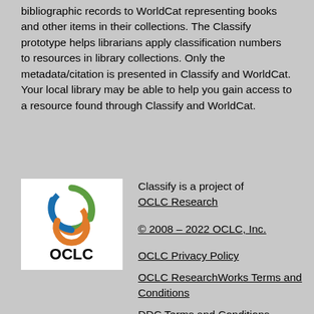bibliographic records to WorldCat representing books and other items in their collections. The Classify prototype helps librarians apply classification numbers to resources in library collections. Only the metadata/citation is presented in Classify and WorldCat. Your local library may be able to help you gain access to a resource found through Classify and WorldCat.
[Figure (logo): OCLC logo — circular rings in blue, green, orange above the text 'OCLC' in black, on a white square background]
Classify is a project of OCLC Research
© 2008 – 2022 OCLC, Inc.
OCLC Privacy Policy
OCLC ResearchWorks Terms and Conditions
DDC Terms and Conditions
All copyright rights in the Dewey Decimal Classification System are owned by OCLC,